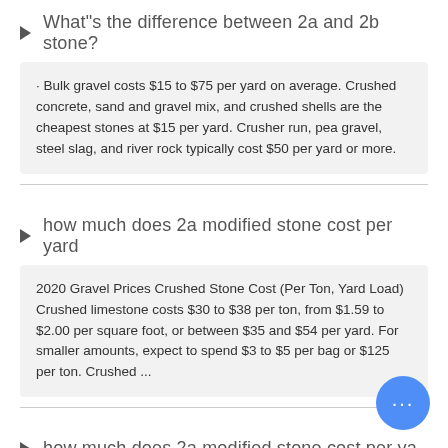What"s the difference between 2a and 2b stone?
· Bulk gravel costs $15 to $75 per yard on average. Crushed concrete, sand and gravel mix, and crushed shells are the cheapest stones at $15 per yard. Crusher run, pea gravel, steel slag, and river rock typically cost $50 per yard or more.
how much does 2a modified stone cost per yard
2020 Gravel Prices Crushed Stone Cost (Per Ton, Yard Load) Crushed limestone costs $30 to $38 per ton, from $1.59 to $2.00 per square foot, or between $35 and $54 per yard. For smaller amounts, expect to spend $3 to $5 per bag or $125 per ton. Crushed ...
how much does 2a modified stone cost per ya
luck stone gravel cost per ton the cost of a cubic yard of pea gr... runs from about $45 per ton of regular gravel, now just how much are